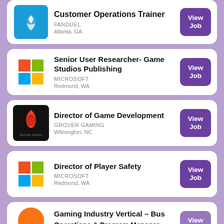Customer Operations Trainer - FANDUEL - Atlanta, GA
Senior User Researcher- Game Studios Publishing - MICROSOFT - Redmond, WA
Director of Game Development - GROVER GAMING - Wilmington, NC
Director of Player Safety - MICROSOFT - Redmond, WA
Gaming Industry Vertical – Business Operations & Program Manager